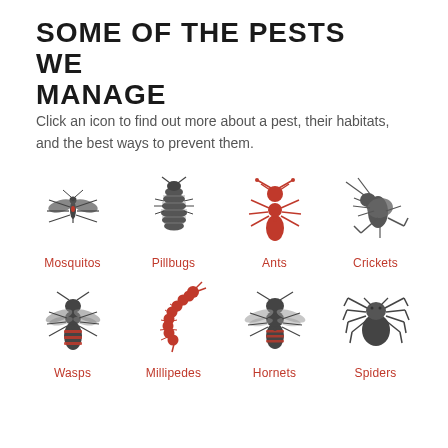SOME OF THE PESTS WE MANAGE
Click an icon to find out more about a pest, their habitats, and the best ways to prevent them.
[Figure (infographic): Eight pest icons arranged in a 4x2 grid: Mosquitos, Pillbugs, Ants (red), Crickets, Wasps, Millipedes (red), Hornets, Spiders. Each icon has a label below in red text.]